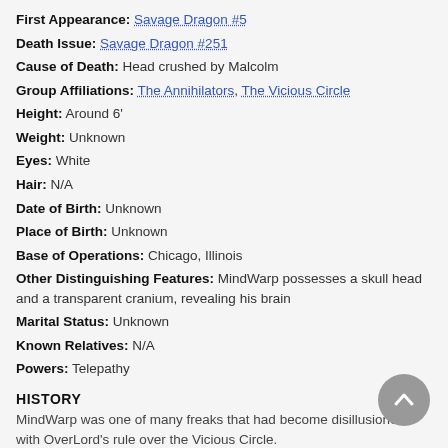First Appearance: Savage Dragon #5
Death Issue: Savage Dragon #251
Cause of Death: Head crushed by Malcolm
Group Affiliations: The Annihilators, The Vicious Circle
Height: Around 6'
Weight: Unknown
Eyes: White
Hair: N/A
Date of Birth: Unknown
Place of Birth: Unknown
Base of Operations: Chicago, Illinois
Other Distinguishing Features: MindWarp possesses a skull head and a transparent cranium, revealing his brain
Marital Status: Unknown
Known Relatives: N/A
Powers: Telepathy
HISTORY
MindWarp was one of many freaks that had become disillusioned with OverLord's rule over the Vicious Circle.